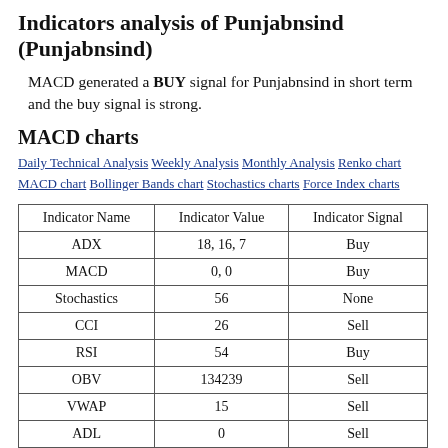Indicators analysis of Punjabnsind (Punjabnsind)
MACD generated a BUY signal for Punjabnsind in short term and the buy signal is strong.
MACD charts
Daily Technical Analysis Weekly Analysis Monthly Analysis Renko chart MACD chart Bollinger Bands chart Stochastics charts Force Index charts
| Indicator Name | Indicator Value | Indicator Signal |
| --- | --- | --- |
| ADX | 18, 16, 7 | Buy |
| MACD | 0, 0 | Buy |
| Stochastics | 56 | None |
| CCI | 26 | Sell |
| RSI | 54 | Buy |
| OBV | 134239 | Sell |
| VWAP | 15 | Sell |
| ADL | 0 | Sell |